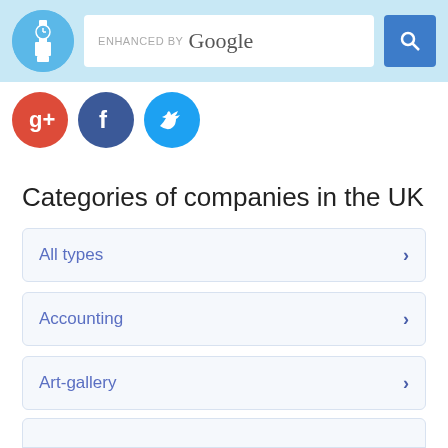ENHANCED BY Google [search bar with logo]
[Figure (illustration): Social media share buttons: Google+, Facebook, Twitter]
Categories of companies in the UK
All types
Accounting
Art-gallery
Atm
Bakery
(partial, cut off)